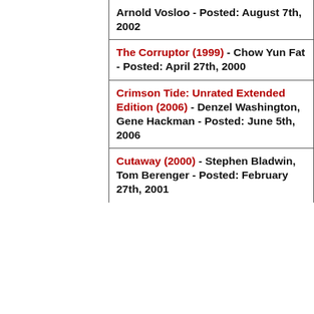Arnold Vosloo - Posted: August 7th, 2002
The Corruptor (1999) - Chow Yun Fat - Posted: April 27th, 2000
Crimson Tide: Unrated Extended Edition (2006) - Denzel Washington, Gene Hackman - Posted: June 5th, 2006
Cutaway (2000) - Stephen Bladwin, Tom Berenger - Posted: February 27th, 2001